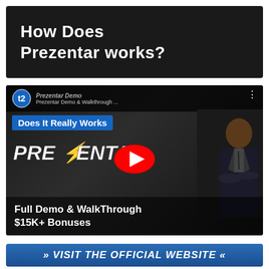How Does Prezentar works?
[Figure (screenshot): YouTube video thumbnail for Prezentar Demo & Walkthrough showing a man in a suit, PREZENTAR logo with lightning bolt, YouTube play button, channel logo, and text overlay 'Does It Really Works', 'Full Demo & WalkThrough $15K+ Bonuses']
>> VISIT THE OFFICIAL WEBSITE <<